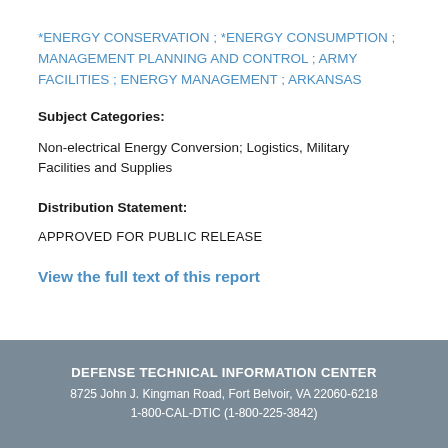*ENERGY CONSERVATION ; *ENERGY CONSUMPTION ; MANAGEMENT PLANNING AND CONTROL ; ARMY FACILITIES ; ENERGY MANAGEMENT ; ARKANSAS
Subject Categories:
Non-electrical Energy Conversion; Logistics, Military Facilities and Supplies
Distribution Statement:
APPROVED FOR PUBLIC RELEASE
View the full text of this report
DEFENSE TECHNICAL INFORMATION CENTER
8725 John J. Kingman Road, Fort Belvoir, VA 22060-6218
1-800-CAL-DTIC (1-800-225-3842)